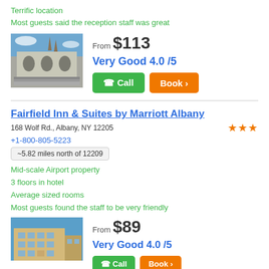Terrific location
Most guests said the reception staff was great
[Figure (photo): Hotel exterior with arched architecture and church spires in background under blue sky]
From $113
Very Good 4.0 /5
Call | Book
Fairfield Inn & Suites by Marriott Albany
168 Wolf Rd., Albany, NY 12205
+1-800-805-5223
~5.82 miles north of 12209
Mid-scale Airport property
3 floors in hotel
Average sized rooms
Most guests found the staff to be very friendly
[Figure (photo): Exterior of Fairfield Inn building with blue sky]
From $89
Very Good 4.0 /5
Call | Book